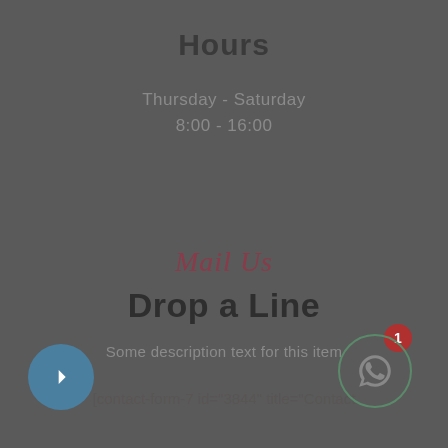Hours
Thursday - Saturday
8:00 - 16:00
Mail Us
Drop a Line
Some description text for this item
[contact-form-7 id="3844" title="Contact